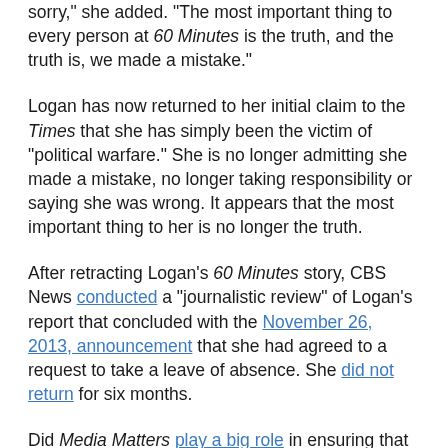sorry," she added. "The most important thing to every person at 60 Minutes is the truth, and the truth is, we made a mistake."
Logan has now returned to her initial claim to the Times that she has simply been the victim of “political warfare.” She is no longer admitting she made a mistake, no longer taking responsibility or saying she was wrong. It appears that the most important thing to her is no longer the truth.
After retracting Logan’s 60 Minutes story, CBS News conducted a “journalistic review” of Logan’s report that concluded with the November 26, 2013, announcement that she had agreed to a request to take a leave of absence. She did not return for six months.
Did Media Matters play a big role in ensuring that CBS News had to take responsibility for its failure? Absolutely, and I’m very proud of our work holding the network — and Logan —